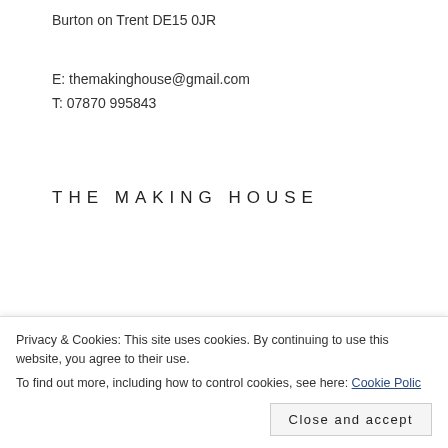Burton on Trent DE15 0JR
E: themakinghouse@gmail.com
T: 07870 995843
THE MAKING HOUSE
JEWELLERY
Bags2riches Shop
The Making House Shop
Privacy & Cookies: This site uses cookies. By continuing to use this website, you agree to their use.
To find out more, including how to control cookies, see here: Cookie Policy
Close and accept